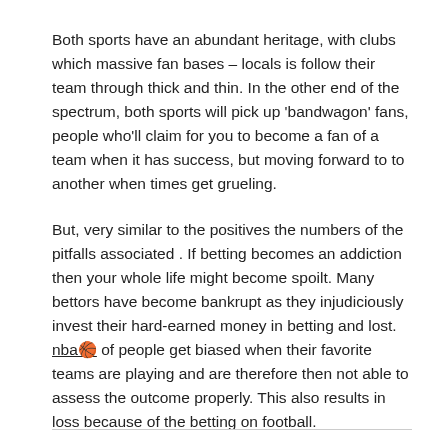Both sports have an abundant heritage, with clubs which massive fan bases – locals is follow their team through thick and thin. In the other end of the spectrum, both sports will pick up 'bandwagon' fans, people who'll claim for you to become a fan of a team when it has success, but moving forward to to another when times get grueling.
But, very similar to the positives the numbers of the pitfalls associated . If betting becomes an addiction then your whole life might become spoilt. Many bettors have become bankrupt as they injudiciously invest their hard-earned money in betting and lost. nba🏀 of people get biased when their favorite teams are playing and are therefore then not able to assess the outcome properly. This also results in loss because of the betting on football.